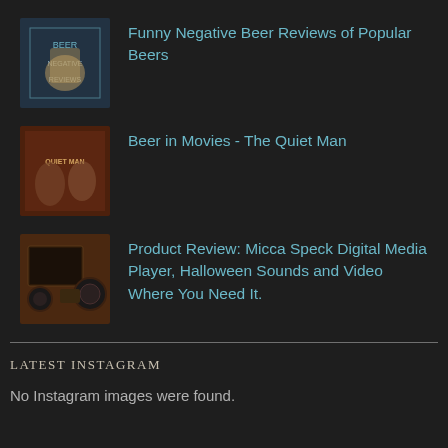Funny Negative Beer Reviews of Popular Beers
Beer in Movies - The Quiet Man
Product Review: Micca Speck Digital Media Player, Halloween Sounds and Video Where You Need It.
LATEST INSTAGRAM
No Instagram images were found.